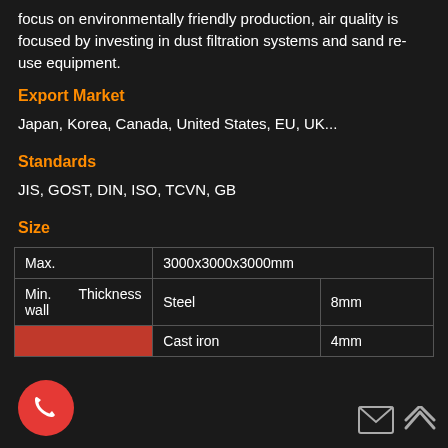focus on environmentally friendly production, air quality is focused by investing in dust filtration systems and sand re-use equipment.
Export Market
Japan, Korea, Canada, United States, EU, UK...
Standards
JIS, GOST, DIN, ISO, TCVN, GB
Size
|  |  |  |
| --- | --- | --- |
| Max. |  | 3000x3000x3000mm |
| Min. Thickness wall |  | Steel | 8mm |
|  |  | Cast iron | 4mm |